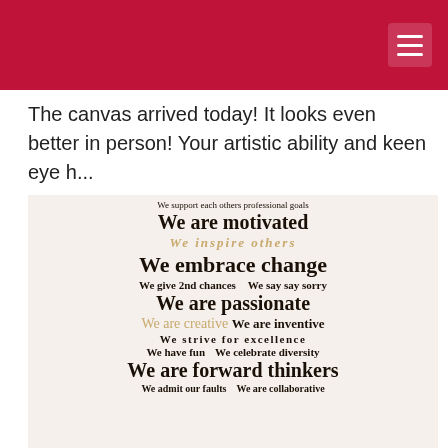[navigation header with menu icon]
The canvas arrived today! It looks even better in person! Your artistic ability and keen eye h...
[Figure (illustration): Typography-based motivational canvas artwork with phrases: 'We support each others professional goals', 'We are motivated', 'We inspire others', 'We embrace change', 'We give 2nd chances', 'We say say sorry', 'We are passionate', 'We are creative', 'We are inventive', 'We strive for excellence', 'We have fun', 'We celebrate diversity', 'We are forward thinkers', 'We admit our faults', 'We are collaborative']